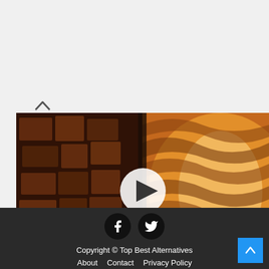[Figure (photo): Video thumbnail showing a wooden veneer lamp with wavy pattern on the right and stacked wood blocks on the left, with a play button overlay in the center. A VENKO WOOD logo badge and title 'Beautiful veneer lamp' appear in a dark bar at the bottom.]
Copyright © Top Best Alternatives
About   Contact   Privacy Policy